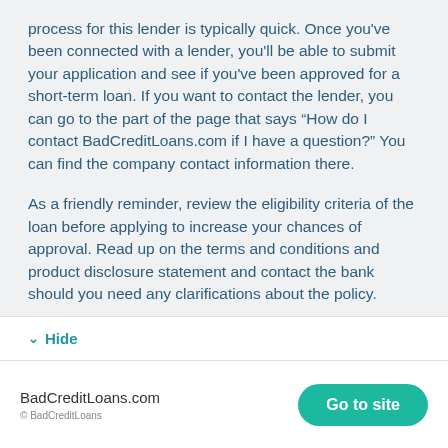process for this lender is typically quick. Once you've been connected with a lender, you'll be able to submit your application and see if you've been approved for a short-term loan. If you want to contact the lender, you can go to the part of the page that says "How do I contact BadCreditLoans.com if I have a question?" You can find the company contact information there.
As a friendly reminder, review the eligibility criteria of the loan before applying to increase your chances of approval. Read up on the terms and conditions and product disclosure statement and contact the bank should you need any clarifications about the policy.
Hope this helps!
Hide
BadCreditLoans.com  Go to site